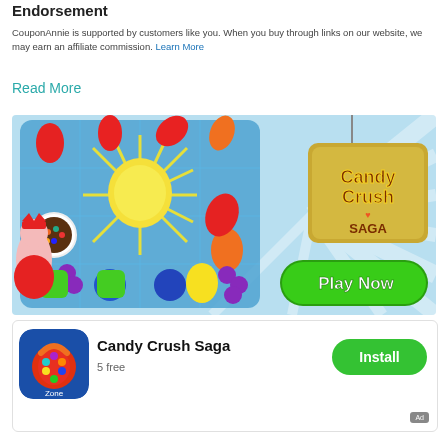Endorsement
CouponAnnie is supported by customers like you. When you buy through links on our website, we may earn an affiliate commission. Learn More
Read More
[Figure (photo): Candy Crush Saga game advertisement banner showing colorful candies on a grid game board, the Candy Crush Saga logo on a hanging tag, and a green Play Now button]
[Figure (screenshot): Candy Crush Saga app install row with app icon, title 'Candy Crush Saga', subtitle '5 free', and a green Install button]